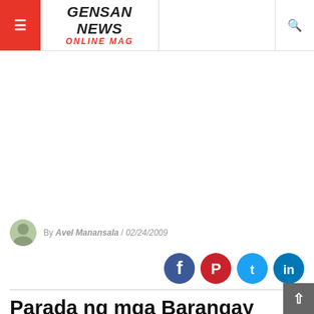GENSAN NEWS ONLINE MAG
[Figure (other): Advertisement / blank content area]
By Avel Manansala / 02/24/2009
[Figure (other): Social share icons: Facebook, Pinterest, Twitter, LinkedIn]
Parada ng mga Barangay opens